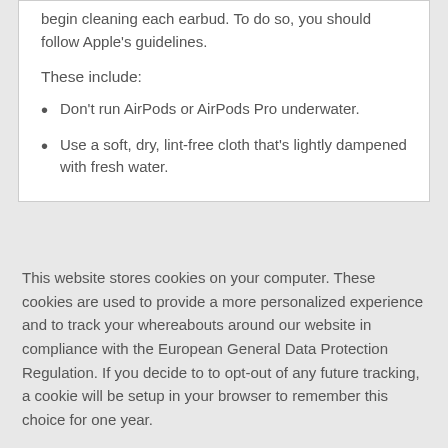begin cleaning each earbud. To do so, you should follow Apple's guidelines.
These include:
Don't run AirPods or AirPods Pro underwater.
Use a soft, dry, lint-free cloth that's lightly dampened with fresh water.
This website stores cookies on your computer. These cookies are used to provide a more personalized experience and to track your whereabouts around our website in compliance with the European General Data Protection Regulation. If you decide to to opt-out of any future tracking, a cookie will be setup in your browser to remember this choice for one year.
Accept or Deny